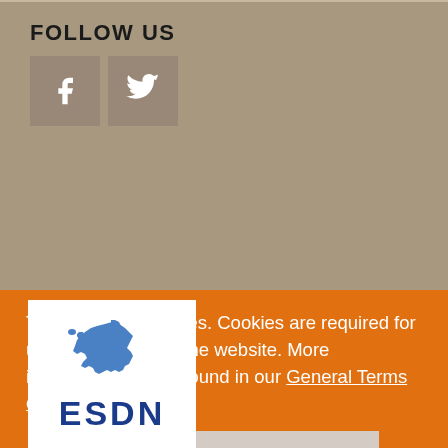FOLLOW US
[Figure (illustration): Facebook and Twitter social media icon buttons on tan/brown background]
[Figure (logo): ESDN logo with blue Europe map and bold blue text 'ESDN']
This site uses cookies. Cookies are required for unrestricted use of the website. More information can be found in our General Terms of Use
I understand and accept!